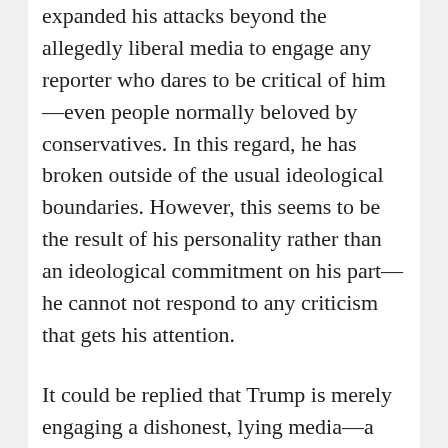expanded his attacks beyond the allegedly liberal media to engage any reporter who dares to be critical of him—even people normally beloved by conservatives. In this regard, he has broken outside of the usual ideological boundaries. However, this seems to be the result of his personality rather than an ideological commitment on his part—he cannot not respond to any criticism that gets his attention.
It could be replied that Trump is merely engaging a dishonest, lying media—a media that has crossed ideological lines to join forces against him. This would require accepting that these reporters are liars and